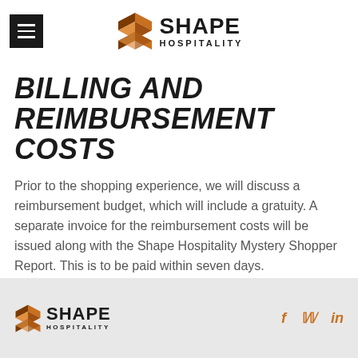Shape Hospitality – Navigation header with logo
BILLING AND REIMBURSEMENT COSTS
Prior to the shopping experience, we will discuss a reimbursement budget, which will include a gratuity. A separate invoice for the reimbursement costs will be issued along with the Shape Hospitality Mystery Shopper Report. This is to be paid within seven days.
Shape Hospitality footer with social links: f, Twitter, in